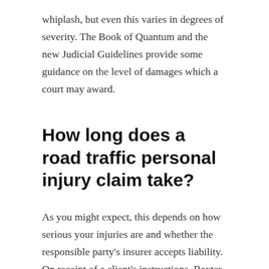whiplash, but even this varies in degrees of severity. The Book of Quantum and the new Judicial Guidelines provide some guidance on the level of damages which a court may award.
How long does a road traffic personal injury claim take?
As you might expect, this depends on how serious your injuries are and whether the responsible party's insurer accepts liability. On receipt of a client's instructions, Baxter Mimnagh commence the claim process immediately. This involves sending a letter of claim, taking up medical reports/ records and lodging the application with the Injuries Board. But...